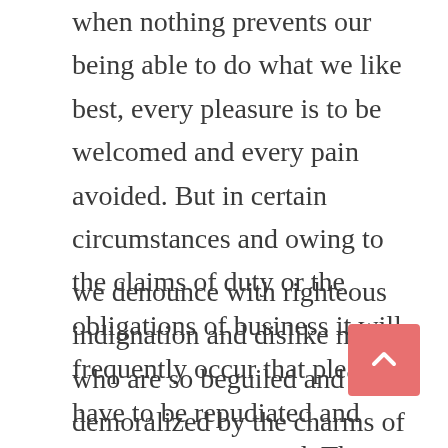when nothing prevents our being able to do what we like best, every pleasure is to be welcomed and every pain avoided. But in certain circumstances and owing to the claims of duty or the obligations of business it will frequently occur that pleasures have to be repudiated and annoyances accepted. The wise man therefore always holds in these matters to this principle of selection: he rejects pleasures to secure other greater pleasures, or else he endures pains to avoid worse pains.
we denounce with righteous indignation and dislike men who are so beguiled and demoralized by the charms of pleasure of the moment, so blinded by desire, that they cannot foresee the pain and trouble that are bound to ensue; and equal blame belongs to those who fail in their duty through weakness of will, which is the same as